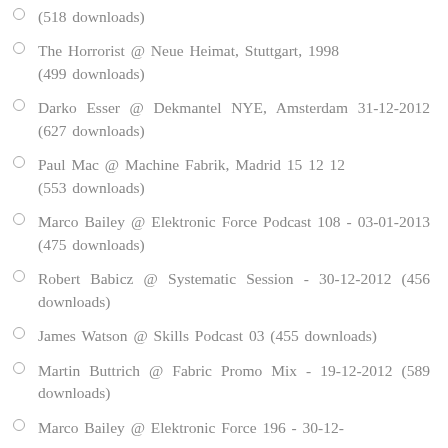(518 downloads)
The Horrorist @ Neue Heimat, Stuttgart, 1998 (499 downloads)
Darko Esser @ Dekmantel NYE, Amsterdam 31-12-2012 (627 downloads)
Paul Mac @ Machine Fabrik, Madrid 15 12 12 (553 downloads)
Marco Bailey @ Elektronic Force Podcast 108 - 03-01-2013 (475 downloads)
Robert Babicz @ Systematic Session - 30-12-2012 (456 downloads)
James Watson @ Skills Podcast 03 (455 downloads)
Martin Buttrich @ Fabric Promo Mix - 19-12-2012 (589 downloads)
Marco Bailey @ Elektronic Force 196 - 30-12-...